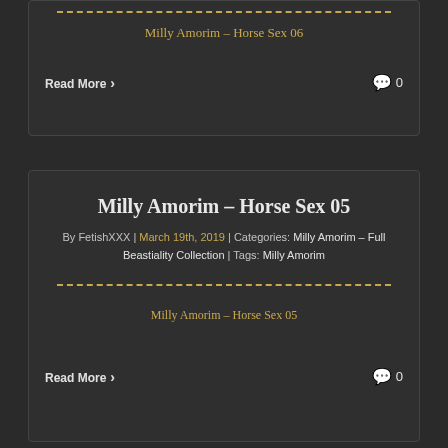Milly Amorim – Horse Sex 06
Read More
0
Milly Amorim – Horse Sex 05
By FetishXXX | March 19th, 2019 | Categories: Milly Amorim – Full Beastiality Collection | Tags: Milly Amorim
Milly Amorim – Horse Sex 05
Read More
0